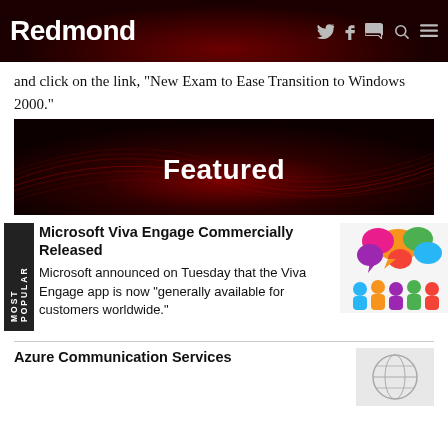Redmond
and click on the link, "New Exam to Ease Transition to Windows 2000."
[Figure (illustration): Featured banner with dark red background and flowing red line patterns, white bold text reading 'Featured']
Microsoft Viva Engage Commercially Released
Microsoft announced on Tuesday that the Viva Engage app is now "generally available for customers worldwide."
[Figure (illustration): Colorful speech bubbles with silhouettes of people below in various colors]
Azure Communication Services